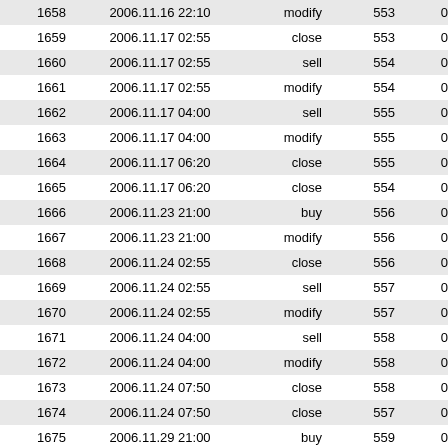| 1658 | 2006.11.16 22:10 | modify | 553 | 0.25 | 1 |
| 1659 | 2006.11.17 02:55 | close | 553 | 0.25 | 1 |
| 1660 | 2006.11.17 02:55 | sell | 554 | 0.25 | 1 |
| 1661 | 2006.11.17 02:55 | modify | 554 | 0.25 | 1 |
| 1662 | 2006.11.17 04:00 | sell | 555 | 0.25 | 1 |
| 1663 | 2006.11.17 04:00 | modify | 555 | 0.25 | 1 |
| 1664 | 2006.11.17 06:20 | close | 555 | 0.25 | 1 |
| 1665 | 2006.11.17 06:20 | close | 554 | 0.25 | 1 |
| 1666 | 2006.11.23 21:00 | buy | 556 | 0.25 | 1 |
| 1667 | 2006.11.23 21:00 | modify | 556 | 0.25 | 1 |
| 1668 | 2006.11.24 02:55 | close | 556 | 0.25 | 1 |
| 1669 | 2006.11.24 02:55 | sell | 557 | 0.25 | 1 |
| 1670 | 2006.11.24 02:55 | modify | 557 | 0.25 | 1 |
| 1671 | 2006.11.24 04:00 | sell | 558 | 0.25 | 1 |
| 1672 | 2006.11.24 04:00 | modify | 558 | 0.25 | 1 |
| 1673 | 2006.11.24 07:50 | close | 558 | 0.25 | 1 |
| 1674 | 2006.11.24 07:50 | close | 557 | 0.25 | 1 |
| 1675 | 2006.11.29 21:00 | buy | 559 | 0.25 | 1 |
| 1676 | 2006.11.29 21:00 | modify | 559 | 0.25 | 1 |
| 1677 | 2006.11.30 02:55 | close | 559 | 0.25 | 1 |
| 1678 | 2006.11.30 02:55 | sell | 560 | 0.25 | 1 |
| 1679 | 2006.11.30 02:55 | modify | 560 | 0.25 | 1 |
| 1680 | 2006.11.30 04:00 | sell | 561 | 0.25 | 1 |
| 1681 | 2006.11.30 04:00 | modify | 561 | 0.25 | 1 |